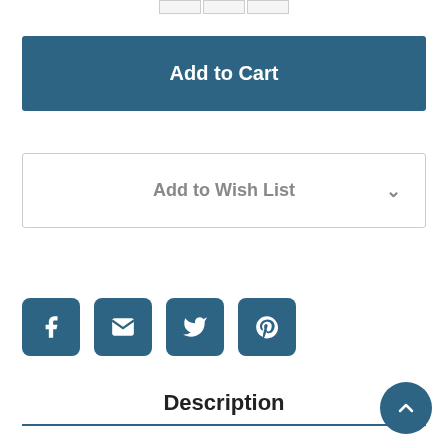[Figure (screenshot): Three small image thumbnail boxes in a row at the top]
Add to Cart
Add to Wish List
[Figure (infographic): Four social sharing icon buttons: Facebook, Email, Twitter, Pinterest — dark teal square rounded buttons with white icons]
Description
[Figure (other): Back to top circular button (teal) with upward chevron arrow, positioned bottom-right]